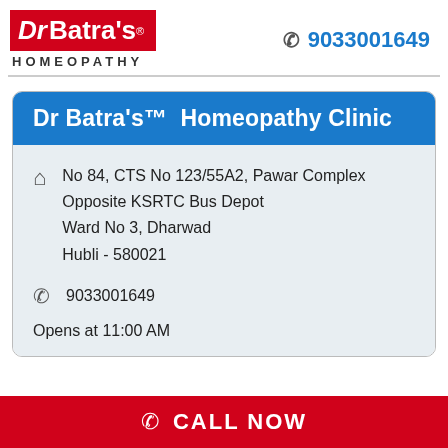[Figure (logo): Dr Batra's Homeopathy logo — red box with white text 'Dr Batra's' and 'HOMEOPATHY' below in dark letters]
9033001649
Dr Batra's™ Homeopathy Clinic
No 84, CTS No 123/55A2, Pawar Complex Opposite KSRTC Bus Depot Ward No 3, Dharwad Hubli - 580021
9033001649
Opens at 11:00 AM
CALL NOW